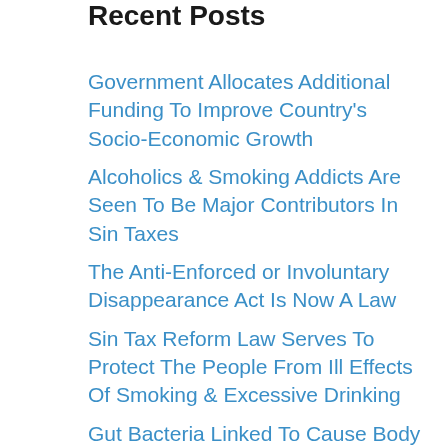Recent Posts
Government Allocates Additional Funding To Improve Country’s Socio-Economic Growth
Alcoholics & Smoking Addicts Are Seen To Be Major Contributors In Sin Taxes
The Anti-Enforced or Involuntary Disappearance Act Is Now A Law
Sin Tax Reform Law Serves To Protect The People From Ill Effects Of Smoking & Excessive Drinking
Gut Bacteria Linked To Cause Body Fat Or Obesity In Humans
The Impact Of Typhoon ‘Pablo’ On Domestic Economy, Minimal – NEDA
Beatle George Harrison’s Sitar Teacher